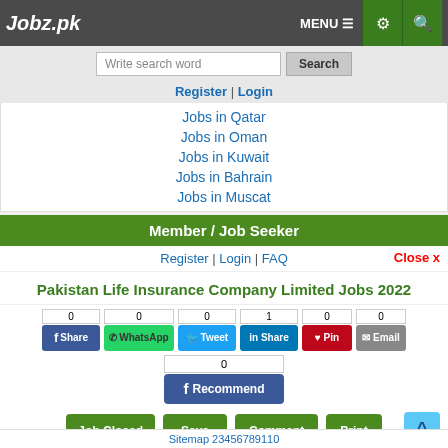Jobz.pk — MENU | Settings | Search
Write search word | Search
Register | Login
Jobs in Qatar
Jobs in Oman
Jobs in Kuwait
Jobs in Bahrain
Jobs in Muscat
Member / Job Seeker
Register | Login | FAQ
Close x
Pakistan Life Insurance Company Limited Jobs 2022
0 Share | 0 WhatsApp | 0 Tweet | 1 Share | 0 Pin | 0 Email
0 Recommend
Job Closed | Save | Comment | Print